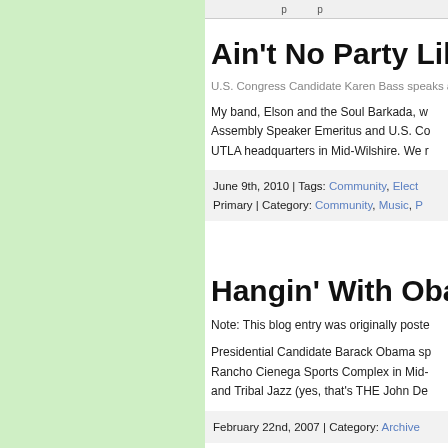[ truncated top bar content ]
Ain't No Party Lik...
U.S. Congress Candidate Karen Bass speaks at he...
My band, Elson and the Soul Barkada, wa... Assembly Speaker Emeritus and U.S. Co... UTLA headquarters in Mid-Wilshire. We r...
June 9th, 2010 | Tags: Community, Elect... Primary | Category: Community, Music, P...
Hangin' With Oba...
Note: This blog entry was originally poste...
Presidential Candidate Barack Obama sp... Rancho Cienega Sports Complex in Mid-... and Tribal Jazz (yes, that's THE John De...
February 22nd, 2007 | Category: Archive...